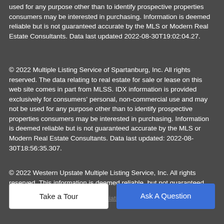used for any purpose other than to identify prospective properties consumers may be interested in purchasing. Information is deemed reliable but is not guaranteed accurate by the MLS or Modern Real Estate Consultants. Data last updated 2022-08-30T19:02:04.27.
© 2022 Multiple Listing Service of Spartanburg, Inc. All rights reserved. The data relating to real estate for sale or lease on this web site comes in part from MLSS. IDX information is provided exclusively for consumers' personal, non-commercial use and may not be used for any purpose other than to identify prospective properties consumers may be interested in purchasing. Information is deemed reliable but is not guaranteed accurate by the MLS or Modern Real Estate Consultants. Data last updated: 2022-08-30T18:56:35.307.
© 2022 Western Upstate Multiple Listing Service, Inc. All rights reserved. This information is deemed reliable, but not guaranteed.
neither the Western Upstate Association of REALTORS®, Inc. or